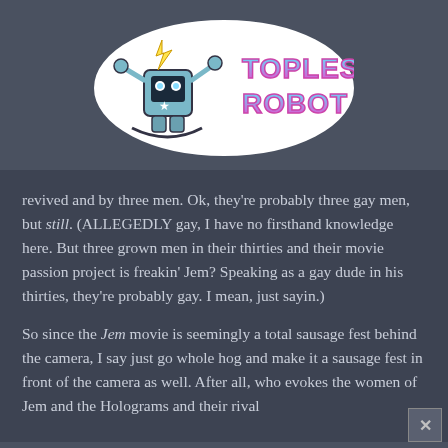[Figure (logo): Topless Robot logo — a cartoon robot with lightning bolts and claws, next to stylized pink and cyan 'TOPLESS ROBOT' text in a retro 80s style, on a white sticker-style background]
revived and by three men. Ok, they're probably three gay men, but still. (ALLEGEDLY gay, I have no firsthand knowledge here. But three grown men in their thirties and their movie passion project is freakin' Jem? Speaking as a gay dude in his thirties, they're probably gay. I mean, just sayin.)
So since the Jem movie is seemingly a total sausage fest behind the camera, I say just go whole hog and make it a sausage fest in front of the camera as well. After all, who evokes the women of Jem and the Holograms and their rival